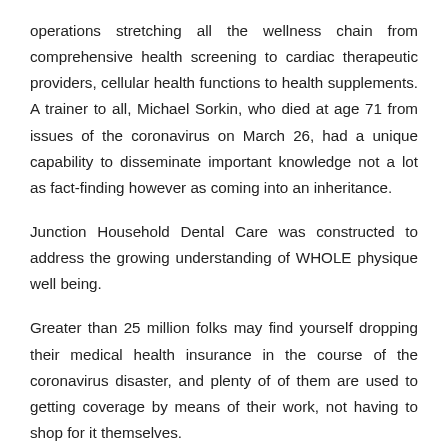operations stretching all the wellness chain from comprehensive health screening to cardiac therapeutic providers, cellular health functions to health supplements. A trainer to all, Michael Sorkin, who died at age 71 from issues of the coronavirus on March 26, had a unique capability to disseminate important knowledge not a lot as fact-finding however as coming into an inheritance.
Junction Household Dental Care was constructed to address the growing understanding of WHOLE physique well being.
Greater than 25 million folks may find yourself dropping their medical health insurance in the course of the coronavirus disaster, and plenty of of them are used to getting coverage by means of their work, not having to shop for it themselves.